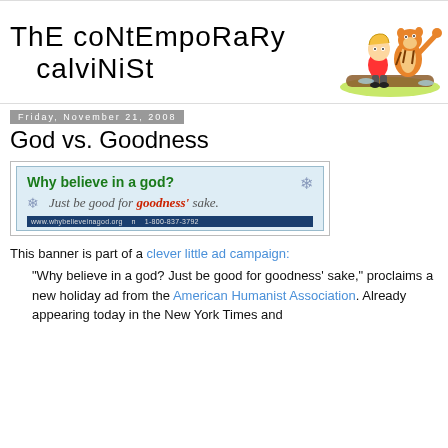[Figure (logo): The Contemporary Calvinist blog header with hand-drawn style text and Calvin and Hobbes illustration running on a log]
Friday, November 21, 2008
God vs. Goodness
[Figure (screenshot): Humanist ad banner reading 'Why believe in a god? Just be good for goodness' sake.' with website www.whybelieveinagod.org]
This banner is part of a clever little ad campaign:
"Why believe in a god? Just be good for goodness' sake," proclaims a new holiday ad from the American Humanist Association. Already appearing today in the New York Times and